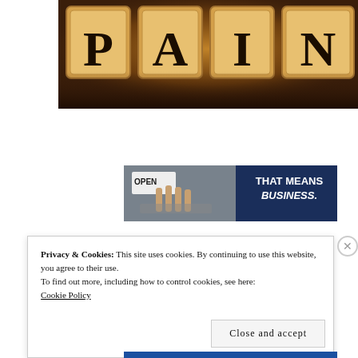[Figure (photo): Wooden scrabble-style tiles spelling PAIN against a dark brown background, partially cropped]
[Figure (photo): Advertisement banner showing a hand holding an OPEN sign on the left (photo) and text 'THAT MEANS BUSINESS.' on a dark navy blue background on the right]
Privacy & Cookies: This site uses cookies. By continuing to use this website, you agree to their use.
To find out more, including how to control cookies, see here:
Cookie Policy